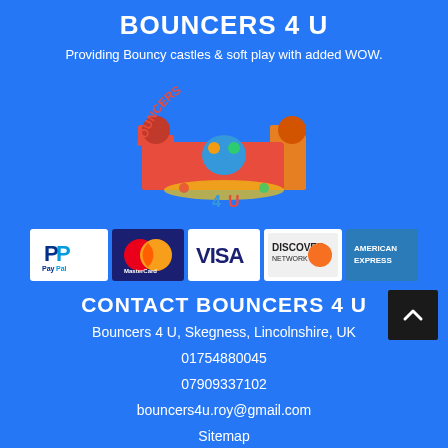BOUNCERS 4 U
Providing Bouncy castles & soft play with added WOW.
[Figure (logo): Bouncers 4 U bouncy castle logo with colorful text and cartoon bouncy castle illustration]
[Figure (infographic): Payment method icons: PayPal, MasterCard, Visa, Discover Network, American Express]
CONTACT BOUNCERS 4 U
Bouncers 4 U, Skegness, Lincolnshire, UK
01754880045
07909337102
bouncers4u.roy@gmail.com
Sitemap